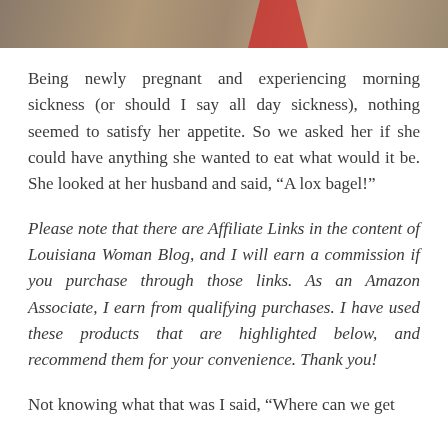[Figure (photo): Partial photo at top of page showing what appears to be a food or nature scene with reddish element visible]
Being newly pregnant and experiencing morning sickness (or should I say all day sickness), nothing seemed to satisfy her appetite. So we asked her if she could have anything she wanted to eat what would it be. She looked at her husband and said, “A lox bagel!”
Please note that there are Affiliate Links in the content of Louisiana Woman Blog, and I will earn a commission if you purchase through those links. As an Amazon Associate, I earn from qualifying purchases. I have used these products that are highlighted below, and recommend them for your convenience. Thank you!
Not knowing what that was I said, “Where can we get